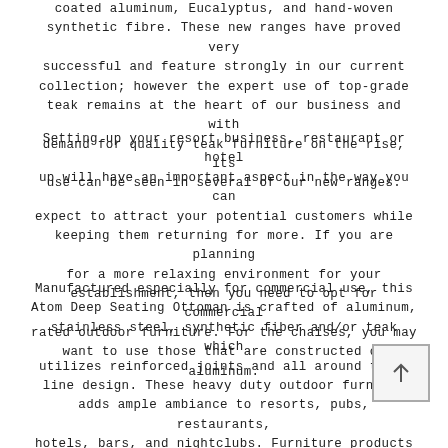coated aluminum, Eucalyptus, and hand-woven synthetic fibre. These new ranges have proved very successful and feature strongly in our current collection; however the expert use of top-grade teak remains at the heart of our business and with demand for quality teak furniture on the rise, its use can be seen in several of our new ranges.
Setting up your resort business, restaurant or hotel up will have an important aspect in the way you can expect to attract your potential customers while keeping them returning for more. If you are planning for a more relaxing environment for your establishment, then you need to opt for commercial rated outdoor furniture. For the chaises, you may want to use those that are constructed of aluminum.
Manufactured especially for commercial use, this Atom Deep Seating Ottoman is crafted of aluminum, stainless steel, synthetic fiber and/or teak which utilizes reinforced joints and all around top of line design. These heavy duty outdoor furniture adds ample ambiance to resorts, pubs, restaurants, hotels, bars, and nightclubs. Furniture products